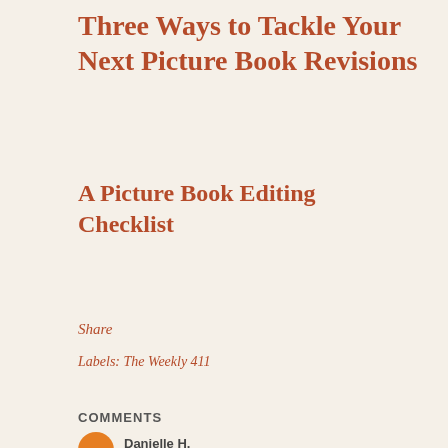Three Ways to Tackle Your Next Picture Book Revisions
A Picture Book Editing Checklist
Share
Labels: The Weekly 411
COMMENTS
Danielle H.